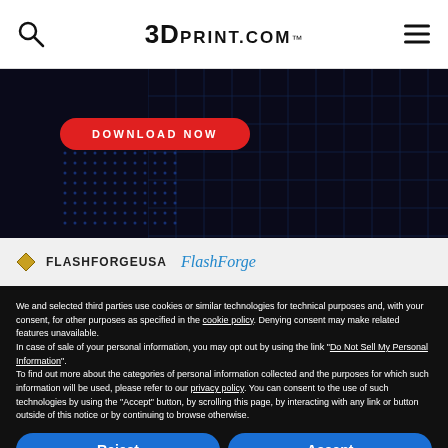3DPRINT.COM
[Figure (screenshot): Dark banner with a red DOWNLOAD NOW button, appears to be a 3D printing software/resource advertisement]
[Figure (logo): FlashForgeUSA logo and FlashForge text logo on light background strip]
We and selected third parties use cookies or similar technologies for technical purposes and, with your consent, for other purposes as specified in the cookie policy. Denying consent may make related features unavailable.
In case of sale of your personal information, you may opt out by using the link "Do Not Sell My Personal Information".
To find out more about the categories of personal information collected and the purposes for which such information will be used, please refer to our privacy policy. You can consent to the use of such technologies by using the "Accept" button, by scrolling this page, by interacting with any link or button outside of this notice or by continuing to browse otherwise.
Reject
Accept
Learn more and customize